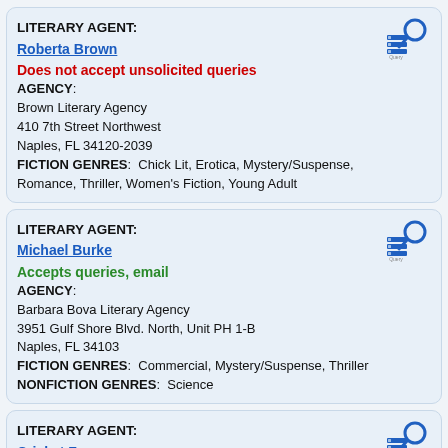LITERARY AGENT: Roberta Brown
Does not accept unsolicited queries
AGENCY:
Brown Literary Agency
410 7th Street Northwest
Naples, FL 34120-2039
FICTION GENRES: Chick Lit, Erotica, Mystery/Suspense, Romance, Thriller, Women's Fiction, Young Adult
LITERARY AGENT: Michael Burke
Accepts queries, email
AGENCY:
Barbara Bova Literary Agency
3951 Gulf Shore Blvd. North, Unit PH 1-B
Naples, FL 34103
FICTION GENRES: Commercial, Mystery/Suspense, Thriller
NONFICTION GENRES: Science
LITERARY AGENT: Cricket Freeman
Accepts queries, email
AGENCY:
The August Agency LLC